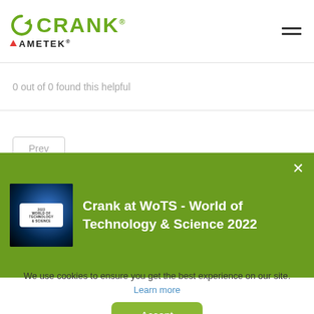[Figure (logo): Crank Software logo with green arrow icon and AMETEK text below]
0 out of 0 found this helpful
Prev
Crank at WoTS - World of Technology & Science 2022
We use cookies to ensure you get the best experience on our site. Learn more
Accept